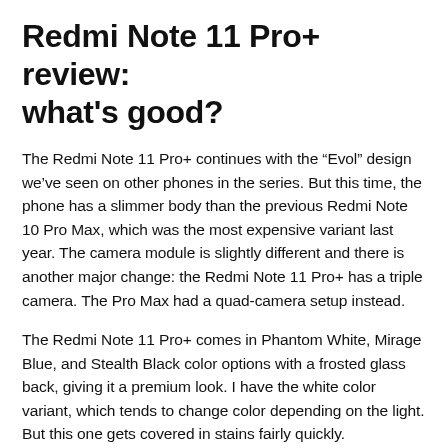Redmi Note 11 Pro+ review: what's good?
The Redmi Note 11 Pro+ continues with the “Evol” design we’ve seen on other phones in the series. But this time, the phone has a slimmer body than the previous Redmi Note 10 Pro Max, which was the most expensive variant last year. The camera module is slightly different and there is another major change: the Redmi Note 11 Pro+ has a triple camera. The Pro Max had a quad-camera setup instead.
The Redmi Note 11 Pro+ comes in Phantom White, Mirage Blue, and Stealth Black color options with a frosted glass back, giving it a premium look. I have the white color variant, which tends to change color depending on the light. But this one gets covered in stains fairly quickly.
[Figure (photo): Redmi Note 11 Pro+ review image placeholder icon]
The Redmi Note 11 Pro+ comes with an AMOLED display with a 120Hz refresh rate. (Image